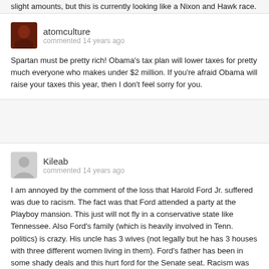slight amounts, but this is currently looking like a Nixon and Hawk race.
[Figure (photo): Avatar photo of user atomculture showing a person with reddish lighting]
atomculture
commented 14 years ago
Spartan must be pretty rich! Obama's tax plan will lower taxes for pretty much everyone who makes under $2 million. If you're afraid Obama will raise your taxes this year, then I don't feel sorry for you.
[Figure (illustration): Default gray avatar placeholder for user Kileab showing a generic person silhouette]
Kileab
commented 14 years ago
I am annoyed by the comment of the loss that Harold Ford Jr. suffered was due to racism. The fact was that Ford attended a party at the Playboy mansion. This just will not fly in a conservative state like Tennessee. Also Ford's family (which is heavily involved in Tenn. politics) is crazy. His uncle has 3 wives (not legally but he has 3 houses with three different women living in them). Ford's father has been in some shady deals and this hurt ford for the Senate seat. Racism was not really a factor.